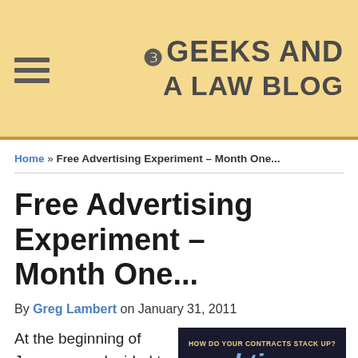3 Geeks and a Law Blog
Home » Free Advertising Experiment – Month One...
Free Advertising Experiment – Month One...
By Greg Lambert on January 31, 2011
At the beginning of January, we decided to run an experiment where
[Figure (screenshot): Advertisement for ktiac.com: 'How do your contracts stack up? ktiac – To Best Practices? To Market Standards? ktiac.com']
[Figure (screenshot): Advertisement: 'Open Access Law School Casebooks' with CALI eLangdell logo and stack of books image]